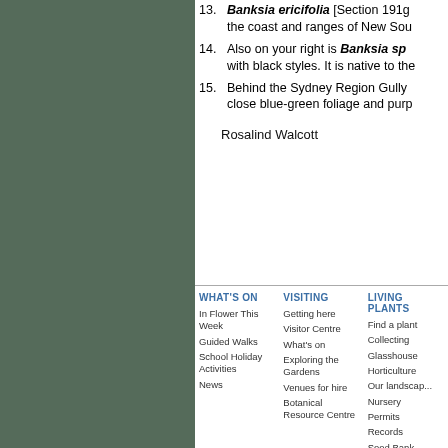[Figure (photo): Dark green/grey panel on the left side of the page]
13. Banksia ericifolia [Section 191g... the coast and ranges of New Sou...
14. Also on your right is Banksia sp... with black styles. It is native to the...
15. Behind the Sydney Region Gully... close blue-green foliage and purp...
Rosalind Walcott
WHAT'S ON | VISITING | LIVING PLANTS | In Flower This Week | Guided Walks | School Holiday Activities | News | Getting here | Visitor Centre | What's on | Exploring the Gardens | Venues for hire | Botanical Resource Centre | Find a plant | Collecting | Glasshouse | Horticulture | Our landscape | Nursery | Permits | Records | Seed Bank